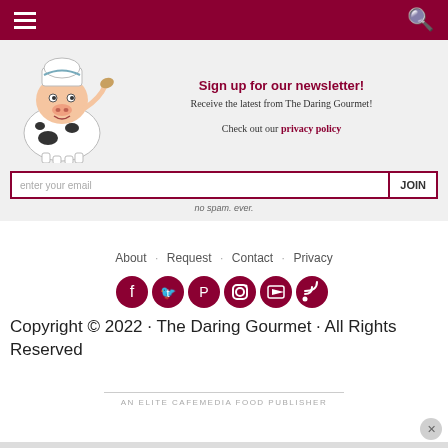Navigation bar with hamburger menu and search icon
[Figure (illustration): Cartoon cow character wearing a chef hat and holding a wooden spoon]
Sign up for our newsletter!
Receive the latest from The Daring Gourmet!
Check out our privacy policy
enter your email  JOIN
no spam. ever.
About · Request · Contact · Privacy
[Figure (infographic): Social media icons: Facebook, Twitter, Pinterest, Instagram, YouTube, RSS — circular dark red buttons]
Copyright © 2022 · The Daring Gourmet · All Rights Reserved
AN ELITE CAFEMEDIA FOOD PUBLISHER